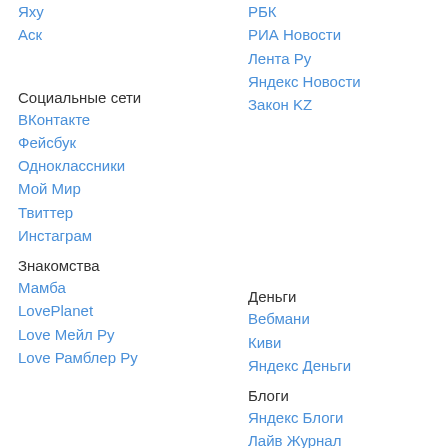Яху
Аск
РБК
РИА Новости
Лента Ру
Яндекс Новости
Закон KZ
Социальные сети
ВКонтакте
Фейсбук
Одноклассники
Мой Мир
Твиттер
Инстаграм
Знакомства
Мамба
LovePlanet
Love Мейл Ру
Love Рамблер Ру
Деньги
Вебмани
Киви
Яндекс Деньги
Блоги
Яндекс Блоги
Лайв Журнал
Лайв Интернет
Сплетник